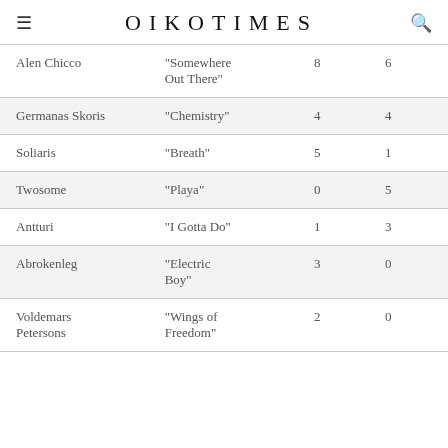OIKOTIMES
| Artist | Song | Col3 | Col4 |
| --- | --- | --- | --- |
| Alen Chicco | "Somewhere Out There" | 8 | 6 |
| Germanas Skoris | "Chemistry" | 4 | 4 |
| Soliaris | "Breath" | 5 | 1 |
| Twosome | "Playa" | 0 | 5 |
| Antturi | "I Gotta Do" | 1 | 3 |
| Abrokenleg | "Electric Boy" | 3 | 0 |
| Voldemars Petersons | "Wings of Freedom" | 2 | 0 |